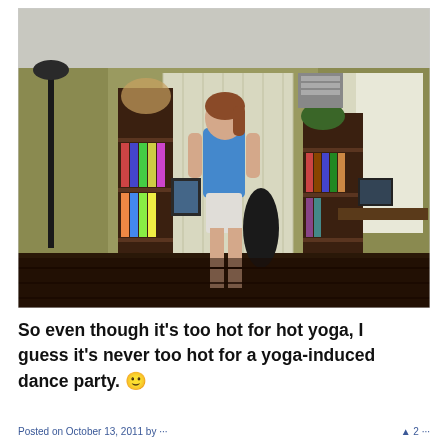[Figure (photo): Indoor photo of a woman in a blue tank top and white shorts standing in a living room with bookshelves, windows with curtains, a desk with a laptop, and dark hardwood floors. She appears to be dancing or doing yoga.]
So even though it's too hot for hot yoga, I guess it's never too hot for a yoga-induced dance party. 🙂
Posted on October 13, 2011 by ...